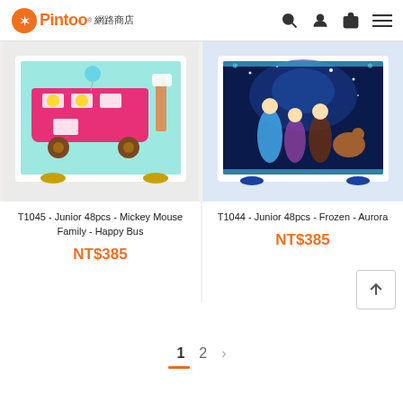Pintoo 網路商店
[Figure (photo): Pintoo puzzle product - T1045 Junior 48pcs Mickey Mouse Family Happy Bus, showing puzzle in frame with Mickey Mouse characters on a pink double-decker bus]
T1045 - Junior 48pcs - Mickey Mouse Family - Happy Bus
NT$385
[Figure (photo): Pintoo puzzle product - T1044 Junior 48pcs Frozen Aurora, showing Elsa, Anna, Kristoff, Olaf and Sven in a dark blue magical scene]
T1044 - Junior 48pcs - Frozen - Aurora
NT$385
1  2  >